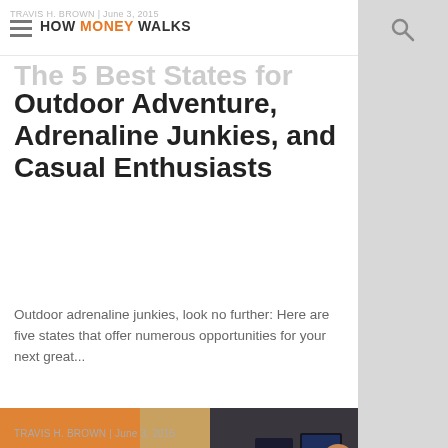HOW MONEY WALKS
TRAVIS H. BROWN | June 3, 2015
The 5 Best States for Outdoor Adventure, Adrenaline Junkies, and Casual Enthusiasts
Outdoor adrenaline junkies, look no further: Here are five states that offer numerous opportunities for your next great...
[Figure (photo): A man in an orange polo shirt with a lanyard badge points at something off-screen to a woman in a blue cardigan who looks on attentively, in what appears to be a retail or electronics store environment with orange and dark display elements in the background.]
TRAVIS H. BROWN | June 3, 2015